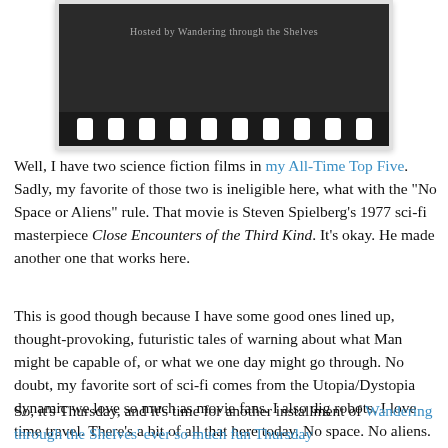[Figure (illustration): A film strip banner with dark background reading 'Hosted by Wandering through the Shelves', with white film holes along the bottom edge.]
Well, I have two science fiction films in my All-Time Top Five. Sadly, my favorite of those two is ineligible here, what with the "No Space or Aliens" rule. That movie is Steven Spielberg's 1977 sci-fi masterpiece Close Encounters of the Third Kind. It's okay. He made another one that works here.
This is good though because I have some good ones lined up, thought-provoking, futuristic tales of warning about what Man might be capable of, or what we one day might go through. No doubt, my favorite sort of sci-fi comes from the Utopia/Dystopia dynamic we love so much as movie fans. I also dig robots. I love time travel. There's a bit of all that here today. No space. No aliens.
So, it's Thursday, and it's time for another installment of Wandering through the Shelves' ever so much fun Thursday